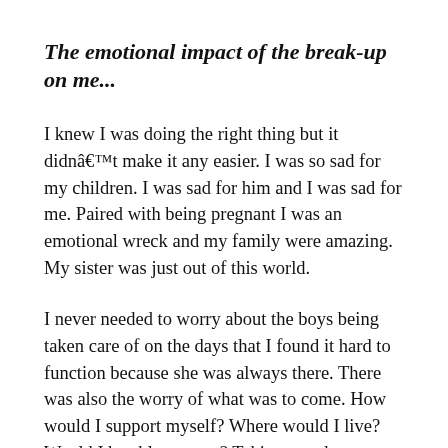The emotional impact of the break-up on me...
I knew I was doing the right thing but it didnâ€™t make it any easier. I was so sad for my children. I was sad for him and I was sad for me. Paired with being pregnant I was an emotional wreck and my family were amazing. My sister was just out of this world.
I never needed to worry about the boys being taken care of on the days that I found it hard to function because she was always there. There was also the worry of what was to come. How would I support myself? Where would I live? Would I be able to cope? Taking one day at a